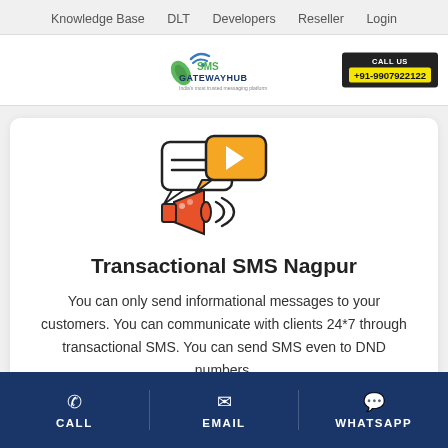Knowledge Base  DLT  Developers  Reseller  Login
[Figure (logo): SMS Gateway Hub logo with green leaf and WiFi signal icon, company name in green and blue text]
CALL US +91-9907922122
[Figure (illustration): Illustration of a megaphone/speaker with speech bubble containing lines and a play button icon, and sound waves, in orange, red, and black colors]
Transactional SMS Nagpur
You can only send informational messages to your customers. You can communicate with clients 24*7 through transactional SMS. You can send SMS even to DND numbers.
CALL   EMAIL   WHATSAPP